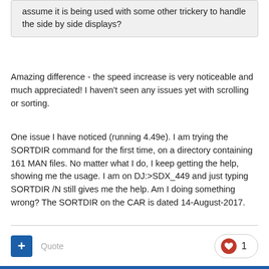assume it is being used with some other trickery to handle the side by side displays?
Amazing difference - the speed increase is very noticeable and much appreciated!  I haven't seen any issues yet with scrolling or sorting.
One issue I have noticed (running 4.49e).  I am trying the SORTDIR command for the first time, on a directory containing 161 MAN files.  No matter what I do, I keep getting the help, showing me the usage.  I am on DJ:>SDX_449 and just typing SORTDIR /N still gives me the help.  Am I doing something wrong?  The SORTDIR on the CAR is dated 14-August-2017.
Quote  1